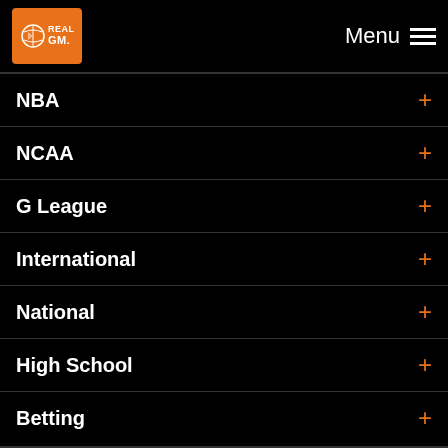RealGM Menu
NBA +
NCAA +
G League +
International +
National +
High School +
Betting +
@ NEWSLETTER   TWITTER   FACEBOOK   [X]
Contact Us   About Us   Advertising   Privacy Policy
[Figure (screenshot): Advertisement banner: Earn money by sharing your opinions - MisoRewards - SIGN UP button with pig illustration]
All content copyright 2002-2023 RealGM, LLC. All rights reserved.